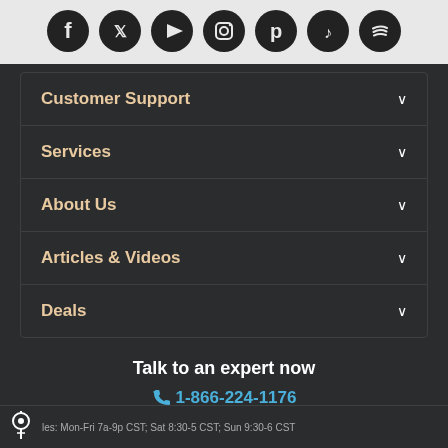[Figure (other): Social media icons row: Facebook, Twitter, YouTube, Instagram, Pinterest, TikTok, Spotify — dark circles on light background]
Customer Support
Services
About Us
Articles & Videos
Deals
Talk to an expert now
1-866-224-1176
Click to Live Chat
les: Mon-Fri 7a-9p CST; Sat 8:30-5 CST; Sun 9:30-6 CST